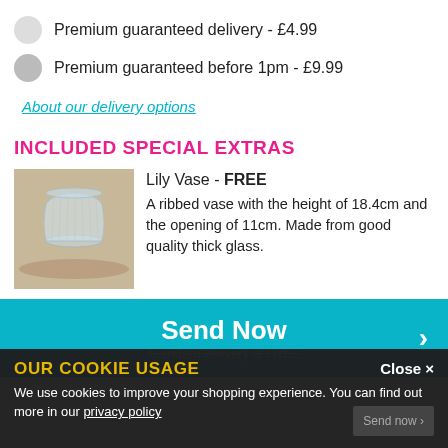Premium guaranteed delivery - £4.99
Premium guaranteed before 1pm - £9.99
About our delivery options
INCLUDED SPECIAL EXTRAS
[Figure (photo): Photo of a ribbed glass lily vase on a wooden surface]
Lily Vase - FREE
A ribbed vase with the height of 18.4cm and the opening of 11cm. Made from good quality thick glass.
Send Now
Standard delivery is FREE
OUR COOKIE USAGE
We use cookies to improve your shopping experience. You can find out more in our privacy policy
Close ×
Send now >